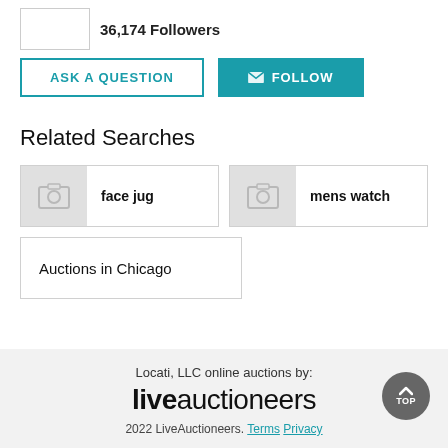36,174 Followers
ASK A QUESTION
FOLLOW
Related Searches
face jug
mens watch
Auctions in Chicago
Locati, LLC online auctions by: liveauctioneers 2022 LiveAuctioneers. Terms Privacy